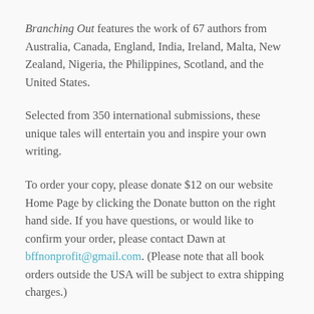Branching Out features the work of 67 authors from Australia, Canada, England, India, Ireland, Malta, New Zealand, Nigeria, the Philippines, Scotland, and the United States.
Selected from 350 international submissions, these unique tales will entertain you and inspire your own writing.
To order your copy, please donate $12 on our website Home Page by clicking the Donate button on the right hand side. If you have questions, or would like to confirm your order, please contact Dawn at bffnonprofit@gmail.com. (Please note that all book orders outside the USA will be subject to extra shipping charges.)